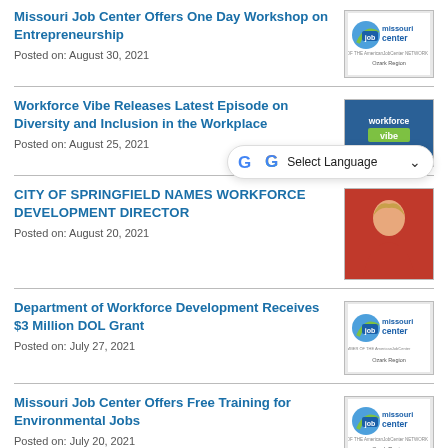Missouri Job Center Offers One Day Workshop on Entrepreneurship
Posted on: August 30, 2021
[Figure (logo): Missouri Job Center Ozark Region logo]
Workforce Vibe Releases Latest Episode on Diversity and Inclusion in the Workplace
Posted on: August 25, 2021
[Figure (logo): Workforce Vibe logo]
[Figure (screenshot): Google Translate Select Language widget]
CITY OF SPRINGFIELD NAMES WORKFORCE DEVELOPMENT DIRECTOR
Posted on: August 20, 2021
[Figure (photo): Photo of woman with long blonde hair in red top]
Department of Workforce Development Receives $3 Million DOL Grant
Posted on: July 27, 2021
[Figure (logo): Missouri Job Center Ozark Region logo]
Missouri Job Center Offers Free Training for Environmental Jobs
Posted on: July 20, 2021
[Figure (logo): Missouri Job Center Ozark Region logo]